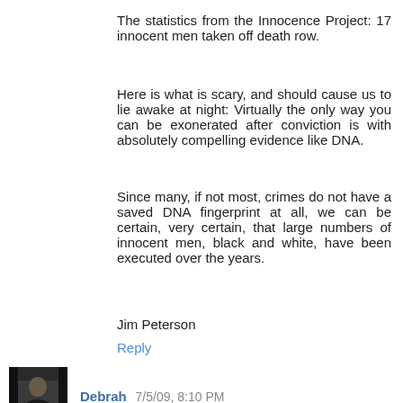The statistics from the Innocence Project: 17 innocent men taken off death row.
Here is what is scary, and should cause us to lie awake at night: Virtually the only way you can be exonerated after conviction is with absolutely compelling evidence like DNA.
Since many, if not most, crimes do not have a saved DNA fingerprint at all, we can be certain, very certain, that large numbers of innocent men, black and white, have been executed over the years.
Jim Peterson
Reply
Debrah 7/5/09, 8:10 PM
Perhaps Mikey's attorney, as well as Mikey, should revisit this day in the life of a rogue prosecutor.
Reply